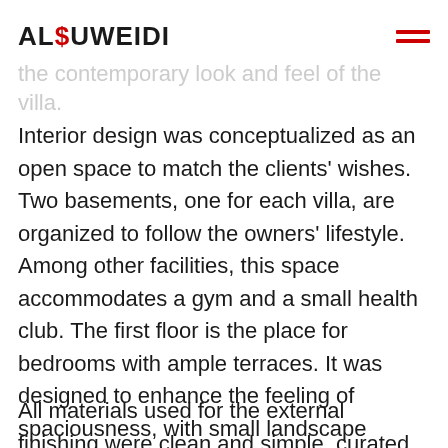ALSUWEIDI
the contemporary look and feel of the villa.
Interior design was conceptualized as an open space to match the clients' wishes. Two basements, one for each villa, are organized to follow the owners' lifestyle. Among other facilities, this space accommodates a gym and a small health club. The first floor is the place for bedrooms with ample terraces. It was designed to enhance the feeling of spaciousness, with small landscape elements, softscape, and upscape elements.
All materials used for the external finishing were clean and simple, curated to support the